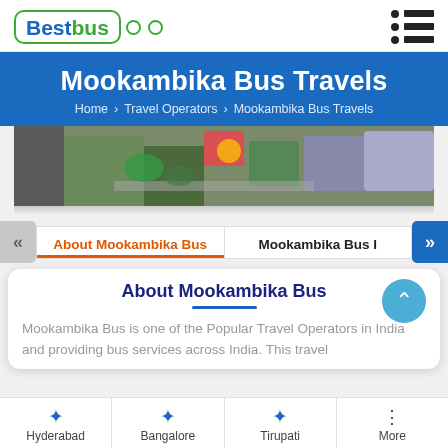BestBus
Mookambika Bus Travels
Home > Travel Operators > Mookambika Bus Travels
[Figure (photo): Aerial/landscape photo of a resort or amusement area with colorful play structures and buildings]
About Mookambika Bus | Mookambika Bus I
About Mookambika Bus
Mookambika Bus is one of the Popular Travel Operators in India and providing bus services across India. This travel
Hyderabad  Bangalore  Tirupati  More